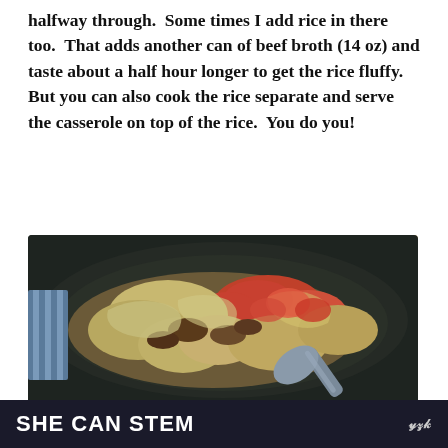halfway through.  Some times I add rice in there too.  That adds another can of beef broth (14 oz) and taste about a half hour longer to get the rice fluffy.  But you can also cook the rice separate and serve the casserole on top of the rice.  You do you!
[Figure (photo): A slow cooker/crock pot filled with a casserole dish containing cooked cabbage, ground meat, tomatoes, and other ingredients, with a blue/gray spoon resting in it. The slow cooker has a dark exterior.]
SHE CAN STEM